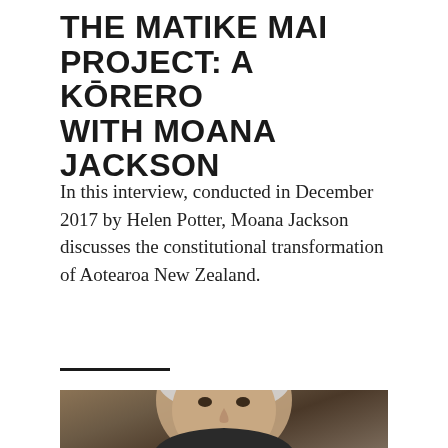THE MATIKE MAI PROJECT: A KŌRERO WITH MOANA JACKSON
In this interview, conducted in December 2017 by Helen Potter, Moana Jackson discusses the constitutional transformation of Aotearoa New Zealand.
[Figure (photo): Portrait photograph of Moana Jackson, an older man with grey hair against a brown background, cropped to show head and upper shoulders]